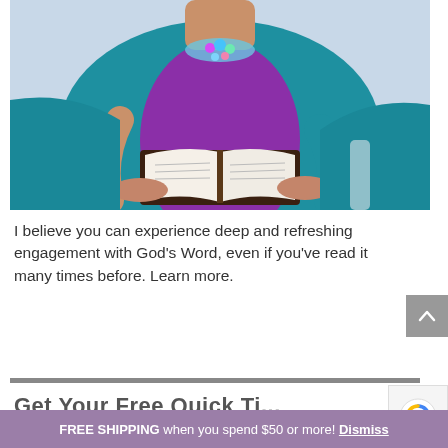[Figure (photo): A woman in a teal cardigan over a purple top, wearing a colorful statement necklace, holding an open book (Bible) with both hands. The background is light/outdoor blurred.]
I believe you can experience deep and refreshing engagement with God's Word, even if you've read it many times before. Learn more.
Get Your Free Quick Ti...
FREE SHIPPING when you spend $50 or more! Dismiss